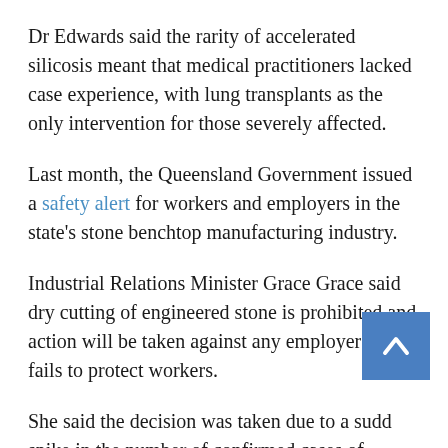Dr Edwards said the rarity of accelerated silicosis meant that medical practitioners lacked case experience, with lung transplants as the only intervention for those severely affected.
Last month, the Queensland Government issued a safety alert for workers and employers in the state's stone benchtop manufacturing industry.
Industrial Relations Minister Grace Grace said dry cutting of engineered stone is prohibited and action will be taken against any employer who fails to protect workers.
She said the decision was taken due to a sudden spike in the number of confirmed cases of silicosis for workers in this industry.